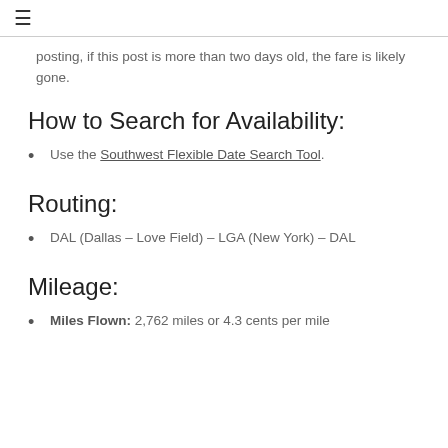≡
posting, if this post is more than two days old, the fare is likely gone.
How to Search for Availability:
Use the Southwest Flexible Date Search Tool.
Routing:
DAL (Dallas – Love Field) – LGA (New York) – DAL
Mileage:
Miles Flown: 2,762 miles or 4.3 cents per mile